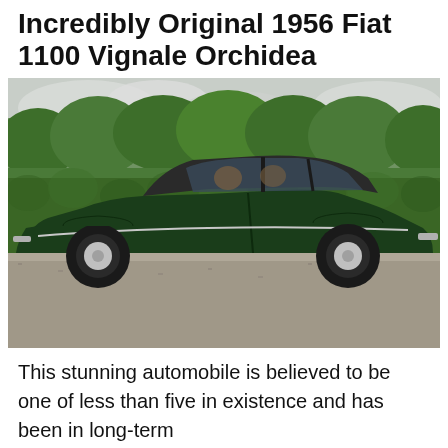Incredibly Original 1956 Fiat 1100 Vignale Orchidea
[Figure (photo): Side profile view of a dark green 1956 Fiat 1100 Vignale Orchidea coupe parked on gravel in front of a tall green hedge, with overcast sky and trees visible above.]
This stunning automobile is believed to be one of less than five in existence and has been in long-term